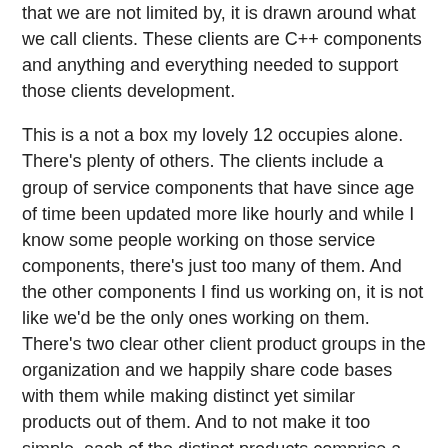that we are not limited by, it is drawn around what we call clients. These clients are C++ components and anything and everything needed to support those clients development.
This is a not a box my lovely 12 occupies alone. There's plenty of others. The clients include a group of service components that have since age of time been updated more like hourly and while I know some people working on those service components, there's just too many of them. And the other components I find us working on, it is not like we'd be the only ones working on them. There's two clear other client product groups in the organization and we happily share code bases with them while making distinct yet similar products out of them. And to not make it too simple, each of the distinct products comprise a system with another product that is obviously different for all three of us, and that system is the system our customers identify our product with.
So we have:
service components
components